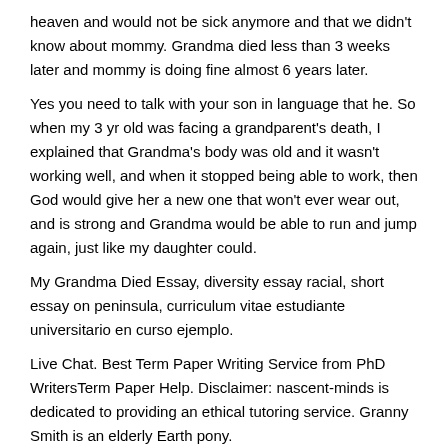heaven and would not be sick anymore and that we didn't know about mommy. Grandma died less than 3 weeks later and mommy is doing fine almost 6 years later.
Yes you need to talk with your son in language that he. So when my 3 yr old was facing a grandparent's death, I explained that Grandma's body was old and it wasn't working well, and when it stopped being able to work, then God would give her a new one that won't ever wear out, and is strong and Grandma would be able to run and jump again, just like my daughter could.
My Grandma Died Essay, diversity essay racial, short essay on peninsula, curriculum vitae estudiante universitario en curso ejemplo.
Live Chat. Best Term Paper Writing Service from PhD WritersTerm Paper Help. Disclaimer: nascent-minds is dedicated to providing an ethical tutoring service. Granny Smith is an elderly Earth pony.
She is Applejack, Apple Bloom, and Big McIntosh's paternal grandmother and a recurring character in the series. Like nearly all of the Apple family's cutie marks, hers is an apple-based product, in this